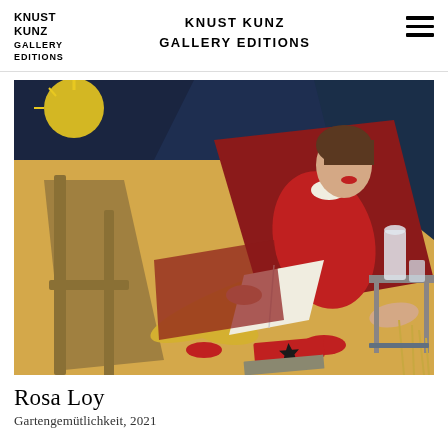KNUST KUNZ
GALLERY EDITIONS
[Figure (illustration): Painting of a woman in a red outfit with yellow trousers reclining on a chair outdoors, reading a book. A table with a water jug and glass is beside her. A red book with a black star lies on the floor. Vibrant yellows, reds, and dark blues compose the scene.]
Rosa Loy
Gartengemütlichkeit, 2021